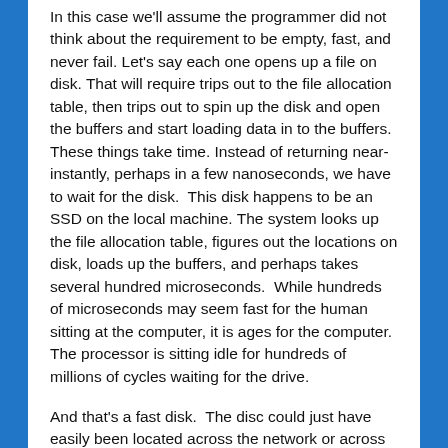In this case we'll assume the programmer did not think about the requirement to be empty, fast, and never fail. Let's say each one opens up a file on disk. That will require trips out to the file allocation table, then trips out to spin up the disk and open the buffers and start loading data in to the buffers. These things take time. Instead of returning near-instantly, perhaps in a few nanoseconds, we have to wait for the disk.  This disk happens to be an SSD on the local machine. The system looks up the file allocation table, figures out the locations on disk, loads up the buffers, and perhaps takes several hundred microseconds.  While hundreds of microseconds may seem fast for the human sitting at the computer, it is ages for the computer. The processor is sitting idle for hundreds of millions of cycles waiting for the drive.
And that's a fast disk.  The disc could just have easily been located across the network or across the world, and the response time could be very slow, such as